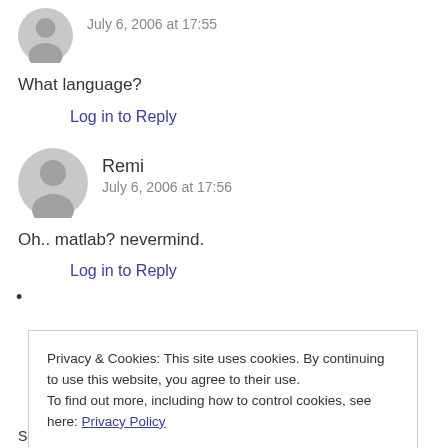July 6, 2006 at 17:55
What language?
Log in to Reply
Remi
July 6, 2006 at 17:56
Oh.. matlab? nevermind.
Log in to Reply
Privacy & Cookies: This site uses cookies. By continuing to use this website, you agree to their use.
To find out more, including how to control cookies, see here: Privacy Policy
Close and accept
Some result you may see in this page. Later I think I will add